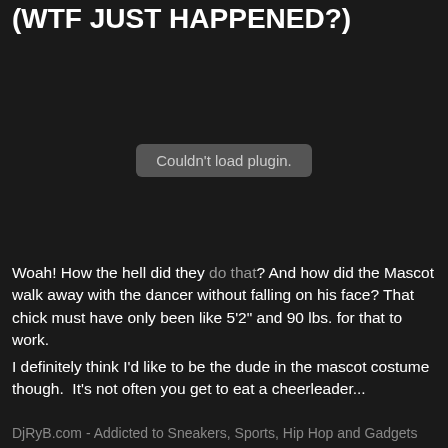(WTF JUST HAPPENED?)
[Figure (other): Embedded plugin/video area showing 'Couldn't load plugin.' error message on dark background]
Woah! How the hell did they do that? And how did the Mascot walk away with the dancer without falling on his face? That chick must have only been like 5'2" and 90 lbs. for that to work.
I definitely think I'd like to be the dude in the mascot costume though.  It's not often you get to eat a cheerleader...
DjRyB.com - Addicted to Sneakers, Sports, Hip Hop and Gadgets